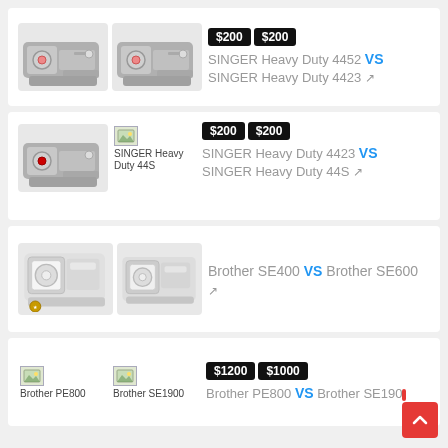[Figure (other): Product comparison card: SINGER Heavy Duty 4452 vs SINGER Heavy Duty 4423, both $200]
[Figure (other): Product comparison card: SINGER Heavy Duty 4423 vs SINGER Heavy Duty 44S, both $200]
[Figure (other): Product comparison card: Brother SE400 vs Brother SE600, no price shown]
[Figure (other): Product comparison card: Brother PE800 ($1200) vs Brother SE1900 ($1000)]